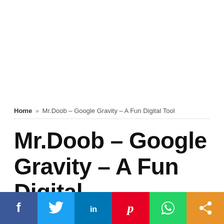Home » Mr.Doob – Google Gravity – A Fun Digital Tool
Mr.Doob – Google Gravity – A Fun Digital Tool
[Figure (infographic): Social sharing bar with Facebook, Twitter, LinkedIn, Pinterest, WhatsApp, and share icons]